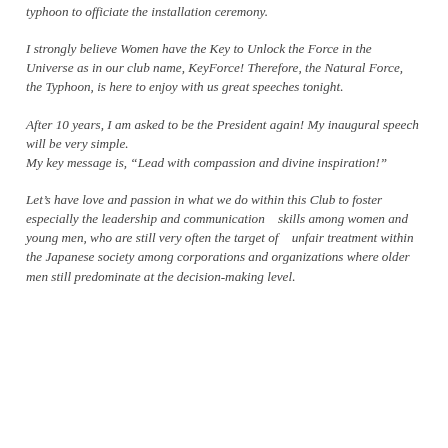typhoon to officiate the installation ceremony.
I strongly believe Women have the Key to Unlock the Force in the Universe as in our club name, KeyForce! Therefore, the Natural Force, the Typhoon, is here to enjoy with us great speeches tonight.
After 10 years, I am asked to be the President again! My inaugural speech will be very simple. My key message is, “Lead with compassion and divine inspiration!”
Let’s have love and passion in what we do within this Club to foster especially the leadership and communication    skills among women and young men, who are still very often the target of    unfair treatment within the Japanese society among corporations and organizations where older men still predominate at the decision-making level.